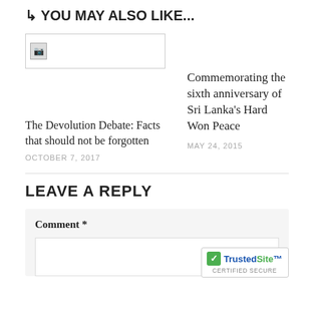YOU MAY ALSO LIKE...
[Figure (photo): Thumbnail image placeholder (broken image icon)]
Commemorating the sixth anniversary of Sri Lanka's Hard Won Peace
MAY 24, 2015
The Devolution Debate: Facts that should not be forgotten
OCTOBER 7, 2017
LEAVE A REPLY
Comment *
[Figure (logo): TrustedSite CERTIFIED SECURE badge]